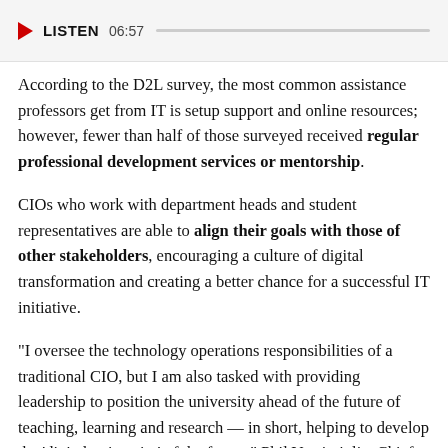LISTEN 06:57
According to the D2L survey, the most common assistance professors get from IT is setup support and online resources; however, fewer than half of those surveyed received regular professional development services or mentorship.
CIOs who work with department heads and student representatives are able to align their goals with those of other stakeholders, encouraging a culture of digital transformation and creating a better chance for a successful IT initiative.
"I oversee the technology operations responsibilities of a traditional CIO, but I am also tasked with providing leadership to position the university ahead of the future of teaching, learning and research — in short, helping to develop the 'digital university' of the future," Phil Ventimiglia, Chief